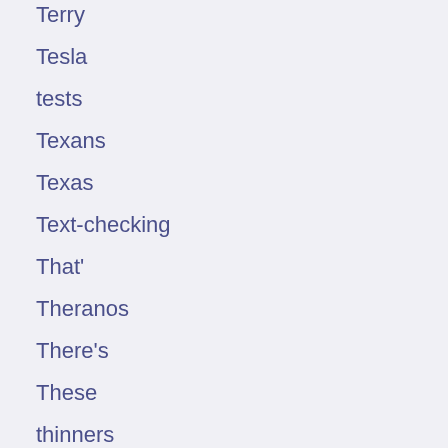Terry
Tesla
tests
Texans
Texas
Text-checking
That'
Theranos
There's
These
thinners
Thomas'
Thousands